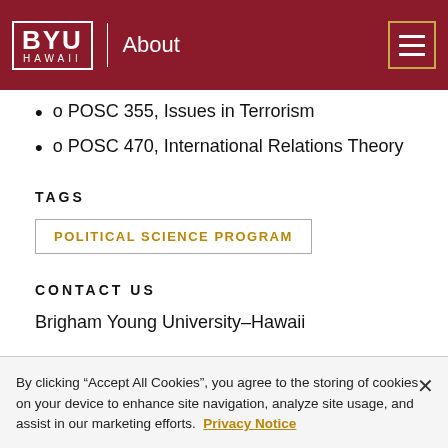BYU HAWAII | About
o POSC 355, Issues in Terrorism
o POSC 470, International Relations Theory
TAGS
POLITICAL SCIENCE PROGRAM
CONTACT US
Brigham Young University–Hawaii
By clicking "Accept All Cookies", you agree to the storing of cookies on your device to enhance site navigation, analyze site usage, and assist in our marketing efforts. Privacy Notice